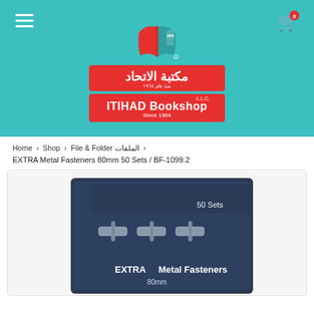[Figure (logo): Itihad Bookshop logo with Arabic text on teal/cyan background header, hamburger menu icon top-left, cart icon top-right]
Home > Shop > File & Folder الملفات >
EXTRA Metal Fasteners 80mm 50 Sets / BF-1099.2
[Figure (photo): Product photo of EXTRA Metal Fasteners 80mm 50 Sets box (BF-1099.2) on dark navy background, partially visible, showing metallic fasteners]